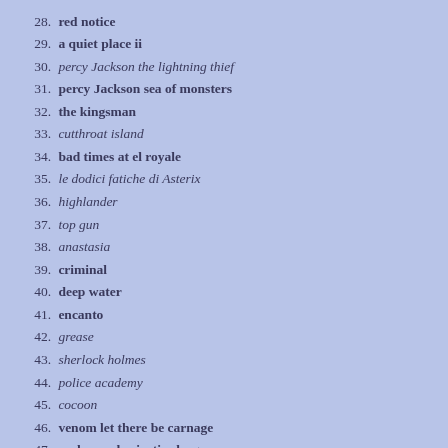28. red notice
29. a quiet place ii
30. percy Jackson the lightning thief
31. percy Jackson sea of monsters
32. the kingsman
33. cutthroat island
34. bad times at el royale
35. le dodici fatiche di Asterix
36. highlander
37. top gun
38. anastasia
39. criminal
40. deep water
41. encanto
42. grease
43. sherlock holmes
44. police academy
45. cocoon
46. venom let there be carnage
47. zacks snyder justice league
48. the league of extraordinary gentlemen
49. diabolik
50. the old guard
51. 365 days